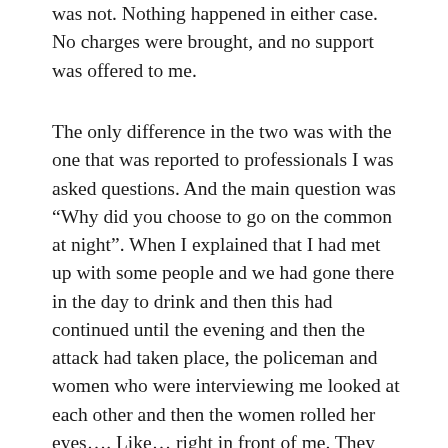was not. Nothing happened in either case. No charges were brought, and no support was offered to me.
The only difference in the two was with the one that was reported to professionals I was asked questions. And the main question was “Why did you choose to go on the common at night”. When I explained that I had met up with some people and we had gone there in the day to drink and then this had continued until the evening and then the attack had taken place, the policeman and women who were interviewing me looked at each other and then the women rolled her eyes…. Like… right in front of me. They may have well said “well what do you expect, being drunk on the